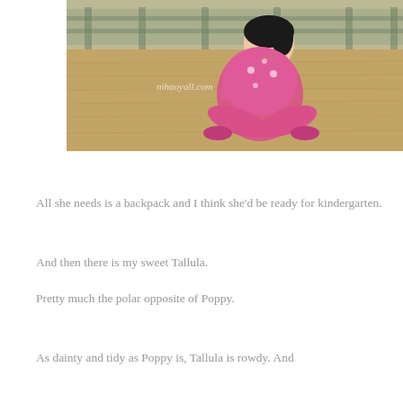[Figure (photo): A young girl wearing a pink outfit sitting cross-legged on dry grass/hay outdoors near a wooden fence. A watermark reads 'nihaoyall.com'.]
All she needs is a backpack and I think she'd be ready for kindergarten.
And then there is my sweet Tallula.
Pretty much the polar opposite of Poppy.
As dainty and tidy as Poppy is, Tallula is rowdy. And